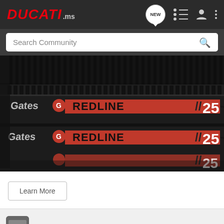DUCATI.ms
Search Community
[Figure (photo): Close-up photo of a Gates RedLine timing belt showing black belt with red and white branding text 'GATES REDLINE TM' and number '25' repeated on the belt edge.]
Learn More
Bravo51 · Flavor of the Month 🇺🇸